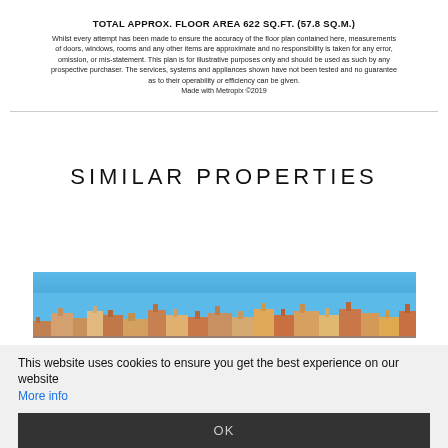TOTAL APPROX. FLOOR AREA 622 SQ.FT. (57.8 SQ.M.)
Whilst every attempt has been made to ensure the accuracy of the floor plan contained here, measurements of doors, windows, rooms and any other items are approximate and no responsibility is taken for any error, omission, or mis-statement. This plan is for illustrative purposes only and should be used as such by any prospective purchaser. The services, systems and appliances shown have not been tested and no guarantee as to their operability or efficiency can be given.
Made with Metropix ©2019
SIMILAR PROPERTIES
[Figure (photo): Photograph of rooftops of buildings against a blue sky, showing a street-level urban scene with terracotta rooftop details.]
This website uses cookies to ensure you get the best experience on our website
More info
OK